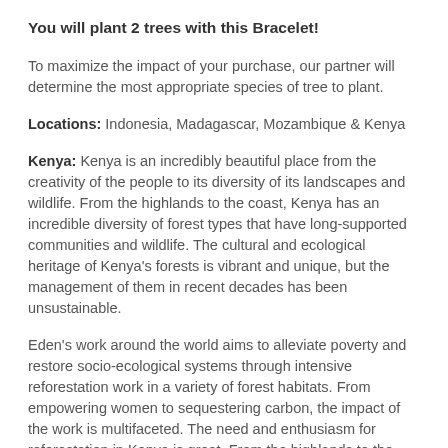You will plant 2 trees with this Bracelet!
To maximize the impact of your purchase, our partner will determine the most appropriate species of tree to plant.
Locations: Indonesia, Madagascar, Mozambique & Kenya
Kenya: Kenya is an incredibly beautiful place from the creativity of the people to its diversity of its landscapes and wildlife. From the highlands to the coast, Kenya has an incredible diversity of forest types that have long-supported communities and wildlife. The cultural and ecological heritage of Kenya's forests is vibrant and unique, but the management of them in recent decades has been unsustainable.
Eden's work around the world aims to alleviate poverty and restore socio-ecological systems through intensive reforestation work in a variety of forest habitats. From empowering women to sequestering carbon, the impact of the work is multifaceted. The need and enthusiasm for reforestation in Kenya is great. From the highlands to the coast, Kenya has an incredible diversity of forest types that have long-supported communities and wildlife. The cultural and ecological